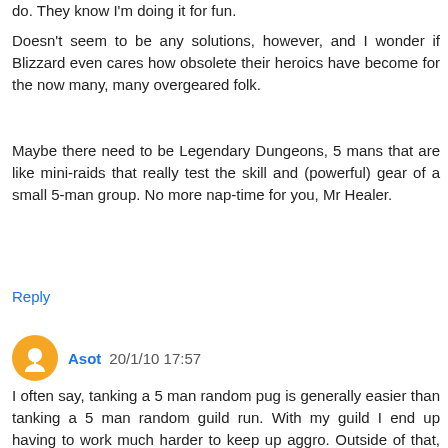do. They know I'm doing it for fun.
Doesn't seem to be any solutions, however, and I wonder if Blizzard even cares how obsolete their heroics have become for the now many, many overgeared folk.
Maybe there need to be Legendary Dungeons, 5 mans that are like mini-raids that really test the skill and (powerful) gear of a small 5-man group. No more nap-time for you, Mr Healer.
Reply
Asot 20/1/10 17:57
I often say, tanking a 5 man random pug is generally easier than tanking a 5 man random guild run. With my guild I end up having to work much harder to keep up aggro. Outside of that, the comments are correct. Go for speed, challenge that healer so he stays awake, he/she will probably appreciate it.
Reply